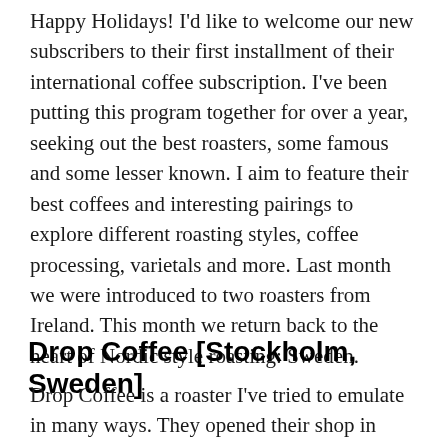Happy Holidays! I'd like to welcome our new subscribers to their first installment of their international coffee subscription. I've been putting this program together for over a year, seeking out the best roasters, some famous and some lesser known. I aim to feature their best coffees and interesting pairings to explore different roasting styles, coffee processing, varietals and more. Last month we were introduced to two roasters from Ireland. This month we return back to the heart of Nordic style roasting: Sweden.
Drop Coffee [Stockholm, Sweden]
Drop Coffee is a roaster I've tried to emulate in many ways. They opened their shop in 2009 and started